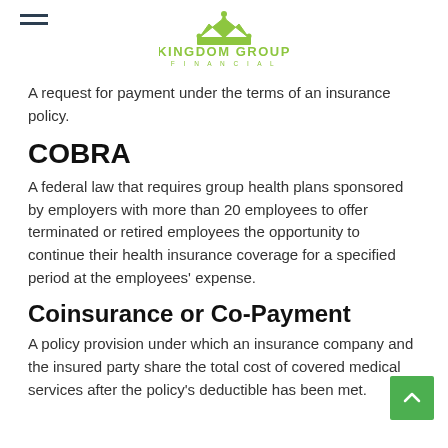Kingdom Group Financial
A request for payment under the terms of an insurance policy.
COBRA
A federal law that requires group health plans sponsored by employers with more than 20 employees to offer terminated or retired employees the opportunity to continue their health insurance coverage for a specified period at the employees' expense.
Coinsurance or Co-Payment
A policy provision under which an insurance company and the insured party share the total cost of covered medical services after the policy's deductible has been met.